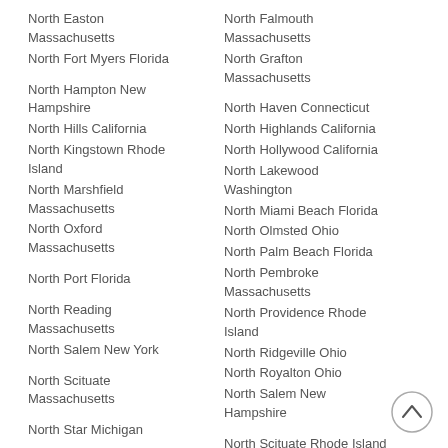North Easton Massachusetts
North Fort Myers Florida
North Hampton New Hampshire
North Hills California
North Kingstown Rhode Island
North Marshfield Massachusetts
North Oxford Massachusetts
North Port Florida
North Reading Massachusetts
North Salem New York
North Scituate Massachusetts
North Star Michigan
North Falmouth Massachusetts
North Grafton Massachusetts
North Haven Connecticut
North Highlands California
North Hollywood California
North Lakewood Washington
North Miami Beach Florida
North Olmsted Ohio
North Palm Beach Florida
North Pembroke Massachusetts
North Providence Rhode Island
North Ridgeville Ohio
North Royalton Ohio
North Salem New Hampshire
North Scituate Rhode Island
North Smithfield Rhode Island
North Sutton New Hampshire